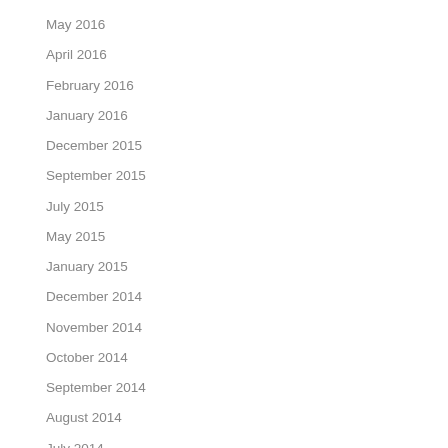May 2016
April 2016
February 2016
January 2016
December 2015
September 2015
July 2015
May 2015
January 2015
December 2014
November 2014
October 2014
September 2014
August 2014
July 2014
June 2014